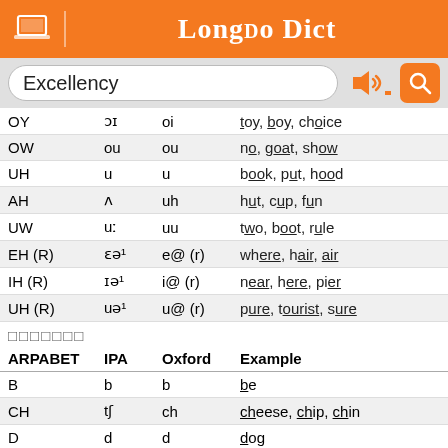Longdo Dict
Excellency
| ARPABET | IPA | Oxford | Example |
| --- | --- | --- | --- |
| OY | ɔɪ | oi | toy, boy, choice |
| OW | ou | ou | no, goat, show |
| UH | u | u | book, put, hood |
| AH | ʌ | uh | hut, cup, fun |
| UW | uː | uu | two, boot, rule |
| EH (R) | ɛə¹ | e@ (r) | where, hair, air |
| IH (R) | ɪə¹ | i@ (r) | near, here, pier |
| UH (R) | uə¹ | u@ (r) | pure, tourist, sure |
พยัญชนะ
| ARPABET | IPA | Oxford | Example |
| --- | --- | --- | --- |
| B | b | b | be |
| CH | tʃ | ch | cheese, chip, chin |
| D | d | d | dog |
| DH | ð | dh | then, this, thee |
| F | f | f | fee |
| G | g | g | green |
| HH | h | h | he |